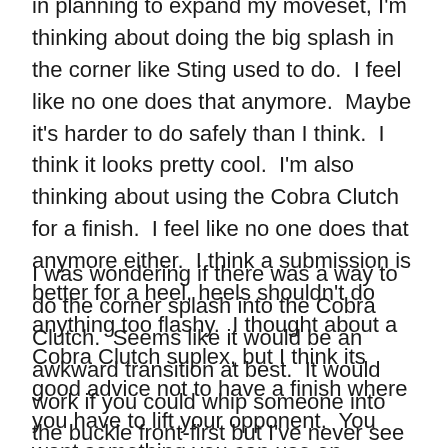in planning to expand my moveset, I'm thinking about doing the big splash in the corner like Sting used to do. I feel like no one does that anymore. Maybe it's harder to do safely than I think. I think it looks pretty cool. I'm also thinking about using the Cobra Clutch for a finish. I feel like no one does that anymore either. I think a submission is better for a heel, heels shouldn't do anything too flashy. I thought about a Cobra Clutch suplex, but I think its good advice not to have a finish where you have to lift your opponent. You want something you can use on anyone.
I was wondering if there was a way to do the corner splash into the Cobra Clutch. Seems like it would be an awkward transition at best. It would work if you could whip someone into the buckle front-first but I've never see anyone do that since Brett Hart years ago. So it would be theoist if you are sure about it's tion.